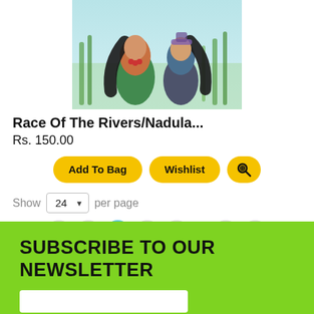[Figure (illustration): Book cover illustration showing two mermaid-like characters with long hair swimming or racing through reeds/grass in a blue-green water setting]
Race Of The Rivers/Nadula...
Rs. 150.00
Add To Bag | Wishlist | [search icon]
Show 24 per page
< 1 2 3 4 ... 10 >
SUBSCRIBE TO OUR NEWSLETTER